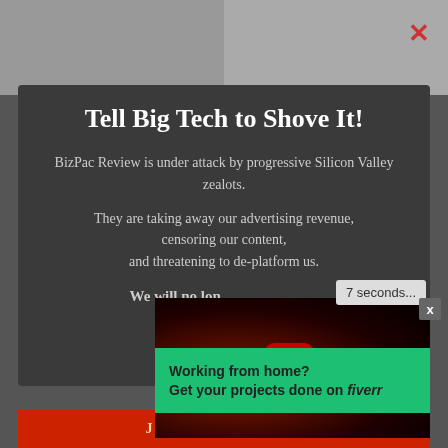[Figure (screenshot): Background showing blurred faces, two people side by side]
Tell Big Tech to Shove It!
BizPac Review is under attack by progressive Silicon Valley zealots.
They are taking away our advertising revenue, censoring our content, and threatening to de-platform us.
We will no lon[ger be silenced.]
Support o[ur work.] C[lick here.]
ADVERTISEMENT
[Figure (screenshot): YouTube video overlay showing YANKEE PRODUCTIONS with play button, dark red background]
7 seconds...
[Figure (infographic): Fiverr advertisement banner: Working from home? Get your projects done on fiverr]
Working from home?
Get your projects done on fiverr
JOIN THE FIGHT